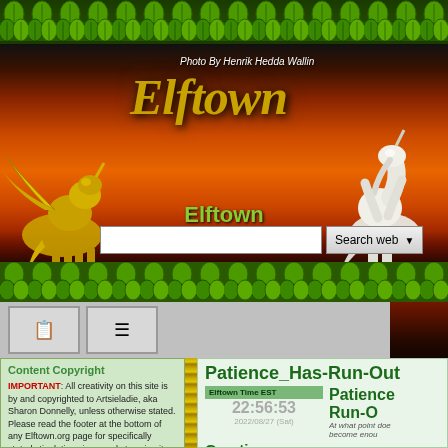[Figure (screenshot): Elftown website banner with fantasy-themed header featuring a golden winged unicorn (pegasus) on the left, a white rearing unicorn on the right, orange/red sunset sky background, green leaf border at top, logo text 'Elftown' in gold italic script, photo credit 'Photo By Henrik Hedda Wallin', green subtitle 'Elftown', a search bar with 'Search web' button, leaf border below banner, and two icon buttons below that.]
Elftown
Photo By Henrik Hedda Wallin
Content Copyright
IMPORTANT: All creativity on this site is by and copyrighted to Artsieladie, aka Sharon Donnelly, unless otherwise stated. Please read the footer at the bottom of any Elftown.org page for specifically stated stipulations in regards to using it and the sharing of it. Thank you!
Patience_Has-Run-Out
Elftown Time EST
22:56:53
2022/08/27 (Sat)
Patience Run-O
At what point doe become enou
Greetin